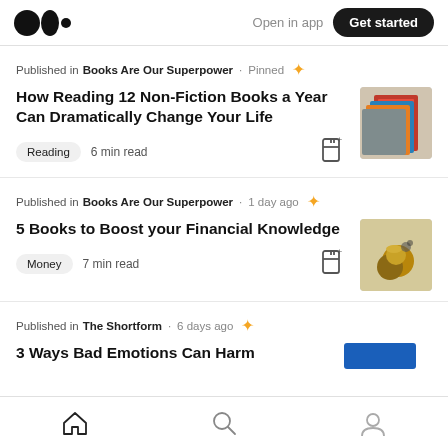Open in app  Get started
Published in Books Are Our Superpower · Pinned
How Reading 12 Non-Fiction Books a Year Can Dramatically Change Your Life
Reading  6 min read
Published in Books Are Our Superpower · 1 day ago
5 Books to Boost your Financial Knowledge
Money  7 min read
Published in The Shortform · 6 days ago
Home  Search  Profile